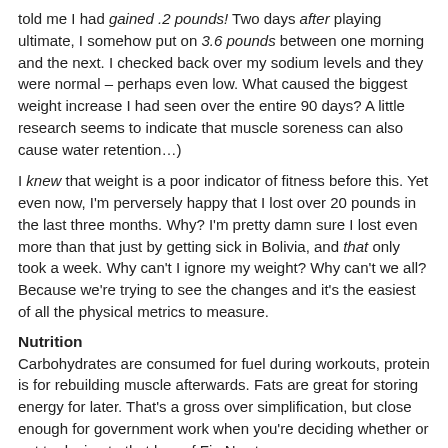told me I had gained .2 pounds!  Two days after playing ultimate, I somehow put on 3.6 pounds between one morning and the next.  I checked back over my sodium levels and they were normal – perhaps even low.  What caused the biggest weight increase I had seen over the entire 90 days?  A little research seems to indicate that muscle soreness can also cause water retention…)
I knew that weight is a poor indicator of fitness before this.  Yet even now, I'm perversely happy that I lost over 20 pounds in the last three months.  Why?  I'm pretty damn sure I lost even more than that just by getting sick in Bolivia, and that only took a week.  Why can't I ignore my weight?  Why can't we all?  Because we're trying to see the changes and it's the easiest of all the physical metrics to measure.
Nutrition
Carbohydrates are consumed for fuel during workouts, protein is for rebuilding muscle afterwards.  Fats are great for storing energy for later.  That's a gross over simplification, but close enough for government work when you're deciding whether or not to decimate that bag of Fig Newtons.
Because we've been tracking the amount of protein, carbs, and fat in every item of food we eat, Oksana and I have become much better at gauging the nutritional content of food.  We can usually tell, just by looking at a product on a store shelf, if it's something we want to "budget" into our daily diet.  Pancakes?  Sure, but no potatoes with dinner tonight, then.  Cashews?  No thanks, I've eaten enough grams of fat today already.